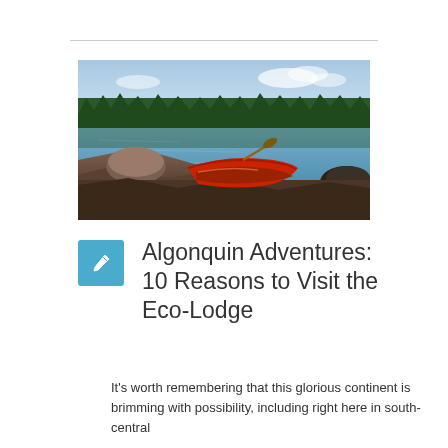[Figure (photo): A red canoe resting on rocky shoreline beside a calm lake surrounded by coniferous forest under a partly cloudy sky]
Algonquin Adventures: 10 Reasons to Visit the Eco-Lodge
It's worth remembering that this glorious continent is brimming with possibility, including right here in south-central